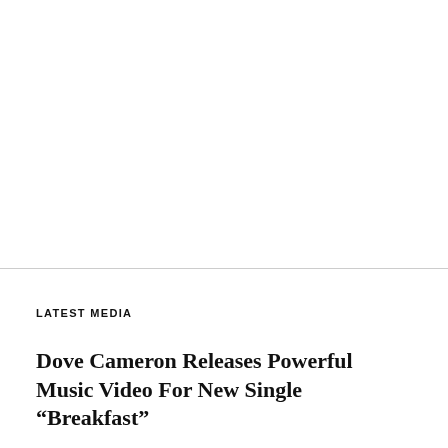[Figure (other): Blank white image area in the top half of the page, above a horizontal dividing line]
LATEST MEDIA
Dove Cameron Releases Powerful Music Video For New Single “Breakfast”